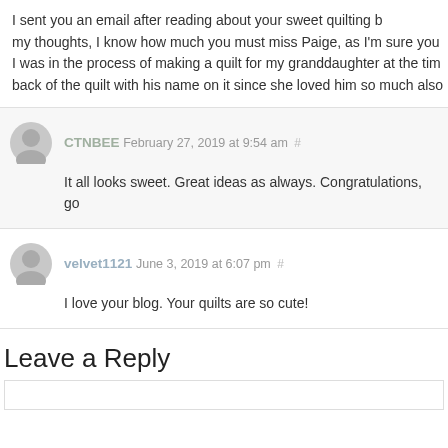I sent you an email after reading about your sweet quilting b... my thoughts, I know how much you must miss Paige, as I'm sure you... I was in the process of making a quilt for my granddaughter at the tim... back of the quilt with his name on it since she loved him so much also...
CTNBEE February 27, 2019 at 9:54 am #
It all looks sweet. Great ideas as always. Congratulations, go...
velvet1121 June 3, 2019 at 6:07 pm #
I love your blog. Your quilts are so cute!
Leave a Reply